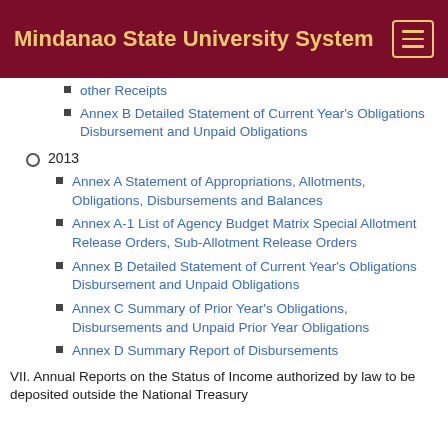Mindanao State University System
other Receipts
Annex B Detailed Statement of Current Year's Obligations Disbursement and Unpaid Obligations
2013
Annex A Statement of Appropriations, Allotments, Obligations, Disbursements and Balances
Annex A-1 List of Agency Budget Matrix Special Allotment Release Orders, Sub-Allotment Release Orders
Annex B Detailed Statement of Current Year's Obligations Disbursement and Unpaid Obligations
Annex C Summary of Prior Year's Obligations, Disbursements and Unpaid Prior Year Obligations
Annex D Summary Report of Disbursements
VII. Annual Reports on the Status of Income authorized by law to be deposited outside the National Treasury